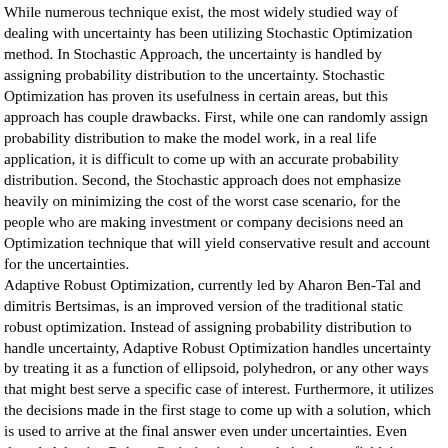While numerous technique exist, the most widely studied way of dealing with uncertainty has been utilizing Stochastic Optimization method. In Stochastic Approach, the uncertainty is handled by assigning probability distribution to the uncertainty. Stochastic Optimization has proven its usefulness in certain areas, but this approach has couple drawbacks. First, while one can randomly assign probability distribution to make the model work, in a real life application, it is difficult to come up with an accurate probability distribution. Second, the Stochastic approach does not emphasize heavily on minimizing the cost of the worst case scenario, for the people who are making investment or company decisions need an Optimization technique that will yield conservative result and account for the uncertainties. Adaptive Robust Optimization, currently led by Aharon Ben-Tal and dimitris Bertsimas, is an improved version of the traditional static robust optimization. Instead of assigning probability distribution to handle uncertainty, Adaptive Robust Optimization handles uncertainty by treating it as a function of ellipsoid, polyhedron, or any other ways that might best serve a specific case of interest. Furthermore, it utilizes the decisions made in the first stage to come up with a solution, which is used to arrive at the final answer even under uncertainties. Even though Adaptive Robust Optimization is a relatively new field, its capability as a way of solving a frequently asked questions in business and other real life application has proven